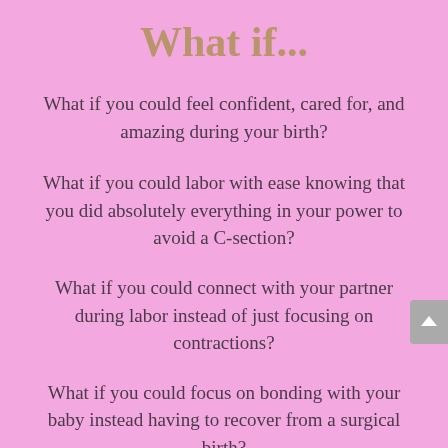What if...
What if you could feel confident, cared for, and amazing during your birth?
What if you could labor with ease knowing that you did absolutely everything in your power to avoid a C-section?
What if you could connect with your partner during labor instead of just focusing on contractions?
What if you could focus on bonding with your baby instead having to recover from a surgical birth?